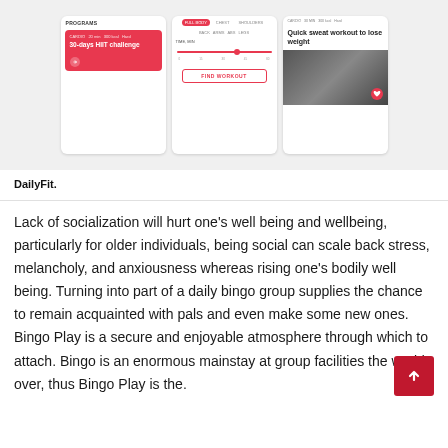[Figure (screenshot): App screenshots showing workout programs including cardio, a filter panel with time slider and Find Workout button, and a video thumbnail for quick sweat workout]
DailyFit.
Lack of socialization will hurt one’s well being and wellbeing, particularly for older individuals, being social can scale back stress, melancholy, and anxiousness whereas rising one’s bodily well being. Turning into part of a daily bingo group supplies the chance to remain acquainted with pals and even make some new ones. Bingo Play is a secure and enjoyable atmosphere through which to attach. Bingo is an enormous mainstay at group facilities the world over, thus Bingo Play is the.